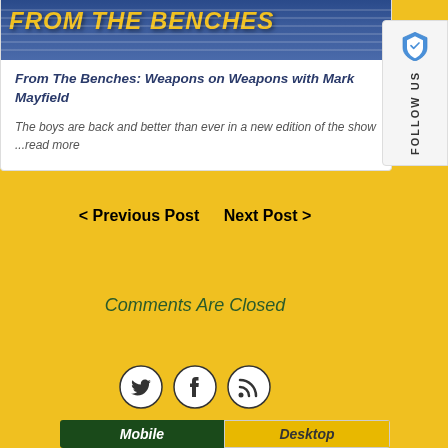[Figure (illustration): Banner image with stadium seating background and yellow italic bold text reading 'FROM THE BENCHES']
From The Benches: Weapons on Weapons with Mark Mayfield
The boys are back and better than ever in a new edition of the show ...read more
[Figure (illustration): Brave browser Follow Us sidebar widget with shield icon and vertical 'Follow Us' text]
< Previous Post   Next Post >
Comments Are Closed
[Figure (illustration): Social media icons: Twitter (bird), Facebook (f), RSS feed]
Mobile   Desktop